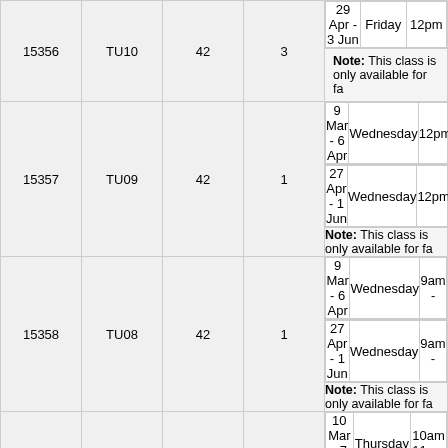| ID | Code | Cap | Avail | Dates | Day | Time |
| --- | --- | --- | --- | --- | --- | --- |
| 15356 | TU10 | 42 | 3 | 29 Apr - 3 Jun | Friday | 12pm |
|  |  |  |  | Note: This class is only available for fa |  |  |
| 15357 | TU09 | 42 | 1 | 9 Mar - 6 Apr | Wednesday | 12pm |
|  |  |  |  | 27 Apr - 1 Jun | Wednesday | 12pm |
|  |  |  |  | Note: This class is only available for fa |  |  |
| 15358 | TU08 | 42 | 1 | 9 Mar - 6 Apr | Wednesday | 9am - |
|  |  |  |  | 27 Apr - 1 Jun | Wednesday | 9am - |
|  |  |  |  | Note: This class is only available for fa |  |  |
| 15359 | TU07 | 42 | FULL | 10 Mar - 7 Apr | Thursday | 10am 11am |
|  |  |  |  | 28 Apr - 2 Jun | Thursday | 10am 11am |
|  |  |  |  | Note: This class is only available for fa |  |  |
| 15360 | TU06 | 42 | 2 | 11 Mar - 8 Apr | Friday | 1pm - |
|  |  |  |  | 29 Apr - 3 Jun | Friday | 1pm - |
|  |  |  |  | Note: This class is only available for fa |  |  |